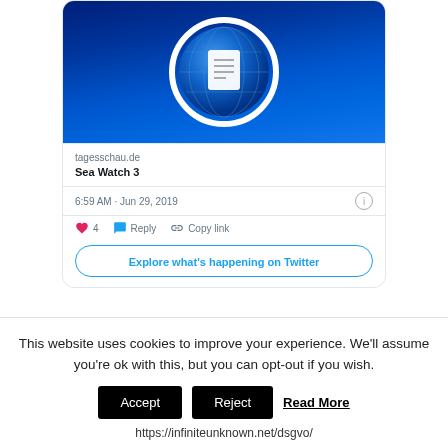[Figure (screenshot): Twitter embedded tweet card showing tagesschau.de news about Sea Watch 3, with a globe/news logo image, timestamp 6:59 AM Jun 29 2019, 4 likes, Reply and Copy link actions, and Explore what's happening on Twitter button]
tagesschau.de
Sea Watch 3
6:59 AM · Jun 29, 2019
4
Reply
Copy link
Explore what's happening on Twitter
This website uses cookies to improve your experience. We'll assume you're ok with this, but you can opt-out if you wish.
Accept
Reject
Read More
https://infiniteunknown.net/dsgvo/